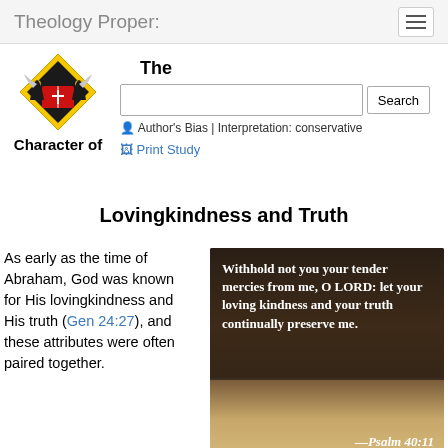Theology Proper:
[Figure (logo): Diamond-shaped logo with a yellow border, black body, red book with cross in center, and two angel-like figures on sides]
The Character of Lovingkindness and Truth
Author's Bias | Interpretation: conservative
Print Study
As early as the time of Abraham, God was known for His lovingkindness and His truth (Gen 24:27), and these attributes were often paired together.
[Figure (photo): Photo of an open Bible with white bold text overlay reading: 'Withhold not you your tender mercies from me, O LORD: let your loving kindness and your truth continually preserve me.' and attribution '—Psalm 40:11']